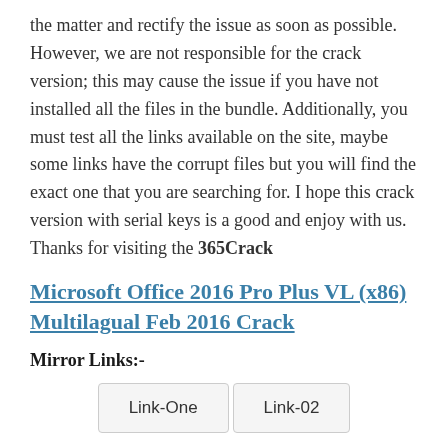the matter and rectify the issue as soon as possible. However, we are not responsible for the crack version; this may cause the issue if you have not installed all the files in the bundle. Additionally, you must test all the links available on the site, maybe some links have the corrupt files but you will find the exact one that you are searching for. I hope this crack version with serial keys is a good and enjoy with us. Thanks for visiting the 365Crack
Microsoft Office 2016 Pro Plus VL (x86) Multilagual Feb 2016 Crack
Mirror Links:-
[Figure (other): Two button links labeled 'Link-One' and 'Link-02']
This entry was posted in Activator and tagged crack for microsoft